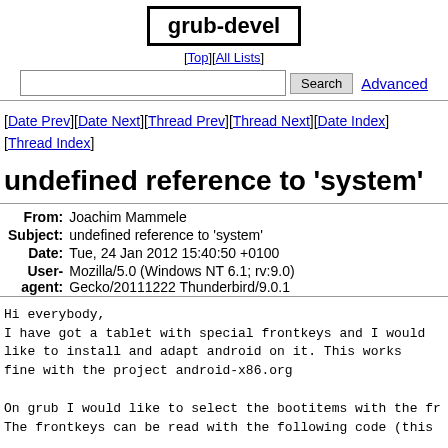grub-devel
[Top][All Lists]
Search  Advanced
[Date Prev][Date Next][Thread Prev][Thread Next][Date Index][Thread Index]
undefined reference to 'system'
| Field | Value |
| --- | --- |
| From | Joachim Mammele |
| Subject | undefined reference to 'system' |
| Date | Tue, 24 Jan 2012 15:40:50 +0100 |
| User-agent | Mozilla/5.0 (Windows NT 6.1; rv:9.0) Gecko/20111222 Thunderbird/9.0.1 |
Hi everybody,
I have got a tablet with special frontkeys and I would
like to install and adapt android on it. This works
fine with the project android-x86.org

On grub I would like to select the bootitems with the fr
The frontkeys can be read with the following code (this